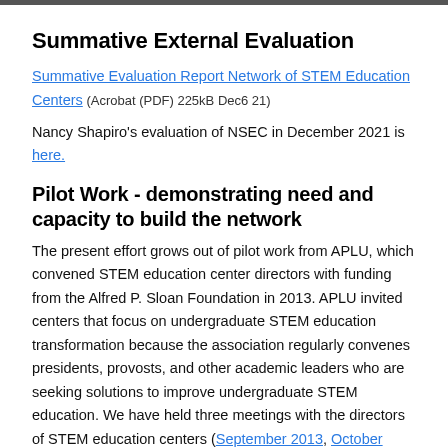Summative External Evaluation
Summative Evaluation Report Network of STEM Education Centers (Acrobat (PDF) 225kB Dec6 21)
Nancy Shapiro's evaluation of NSEC in December 2021 is here.
Pilot Work - demonstrating need and capacity to build the network
The present effort grows out of pilot work from APLU, which convened STEM education center directors with funding from the Alfred P. Sloan Foundation in 2013. APLU invited centers that focus on undergraduate STEM education transformation because the association regularly convenes presidents, provosts, and other academic leaders who are seeking solutions to improve undergraduate STEM education. We have held three meetings with the directors of STEM education centers (September 2013, October 2014, and June 2015 with 167 participants from 100 centers). These meetings